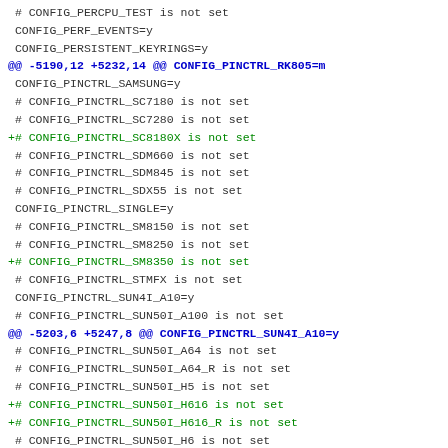# CONFIG_PERCPU_TEST is not set
 CONFIG_PERF_EVENTS=y
 CONFIG_PERSISTENT_KEYRINGS=y
@@ -5190,12 +5232,14 @@ CONFIG_PINCTRL_RK805=m
 CONFIG_PINCTRL_SAMSUNG=y
 # CONFIG_PINCTRL_SC7180 is not set
 # CONFIG_PINCTRL_SC7280 is not set
+# CONFIG_PINCTRL_SC8180X is not set
 # CONFIG_PINCTRL_SDM660 is not set
 # CONFIG_PINCTRL_SDM845 is not set
 # CONFIG_PINCTRL_SDX55 is not set
 CONFIG_PINCTRL_SINGLE=y
 # CONFIG_PINCTRL_SM8150 is not set
 # CONFIG_PINCTRL_SM8250 is not set
+# CONFIG_PINCTRL_SM8350 is not set
 # CONFIG_PINCTRL_STMFX is not set
 CONFIG_PINCTRL_SUN4I_A10=y
 # CONFIG_PINCTRL_SUN50I_A100 is not set
@@ -5203,6 +5247,8 @@ CONFIG_PINCTRL_SUN4I_A10=y
 # CONFIG_PINCTRL_SUN50I_A64 is not set
 # CONFIG_PINCTRL_SUN50I_A64_R is not set
 # CONFIG_PINCTRL_SUN50I_H5 is not set
+# CONFIG_PINCTRL_SUN50I_H616 is not set
+# CONFIG_PINCTRL_SUN50I_H616_R is not set
 # CONFIG_PINCTRL_SUN50I_H6 is not set